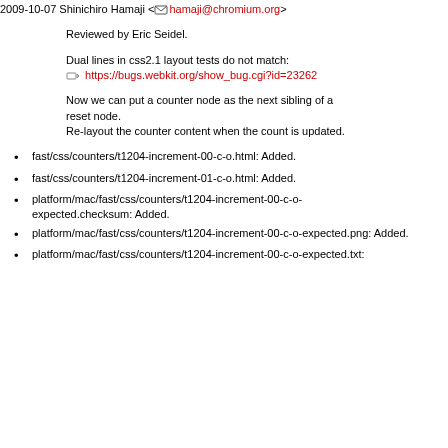Now we can put a counter node as the next sibling of a reset node.
Re-layout the counter content when the count is updated.
Tests: fast/css/counters/t1204-increment-00-c-o.html
fast/css/counters/t1204-increment-01-c-o.html
rendering/CounterNode.cpp: (WebCore::CounterNode::recount):
rendering/RenderCounter.cpp: (WebCore::findPlaceForCounter):
2009-10-07 Shinichiro Hamaji <hamaji@chromium.org>
Reviewed by Eric Seidel.
Dual lines in css2.1 layout tests do not match:
https://bugs.webkit.org/show_bug.cgi?id=23262
Now we can put a counter node as the next sibling of a reset node.
Re-layout the counter content when the count is updated.
fast/css/counters/t1204-increment-00-c-o.html: Added.
fast/css/counters/t1204-increment-01-c-o.html: Added.
platform/mac/fast/css/counters/t1204-increment-00-c-o-expected.checksum: Added.
platform/mac/fast/css/counters/t1204-increment-00-c-o-expected.png: Added.
platform/mac/fast/css/counters/t1204-increment-00-c-o-expected.txt: